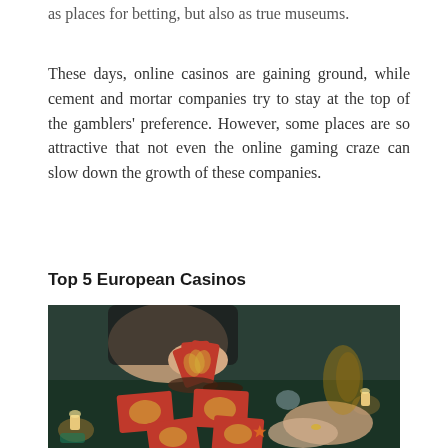as places for betting, but also as true museums.
These days, online casinos are gaining ground, while cement and mortar companies try to stay at the top of the gamblers' preference. However, some places are so attractive that not even the online gaming craze can slow down the growth of these companies.
Top 5 European Casinos
[Figure (photo): A woman in black holding ornate red playing cards over a dark green table with candles, jewelry, and tarot-like cards spread out. Another person's hands are visible across the table.]